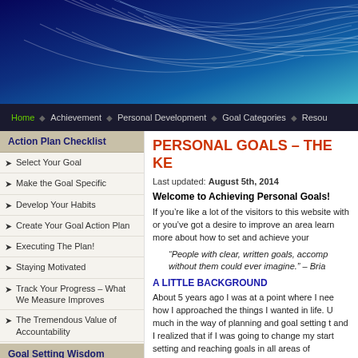[Figure (illustration): Blue abstract wave/line pattern website header banner]
Home | Achievement | Personal Development | Goal Categories | Resou...
Action Plan Checklist
Select Your Goal
Make the Goal Specific
Develop Your Habits
Create Your Goal Action Plan
Executing The Plan!
Staying Motivated
Track Your Progress – What We Measure Improves
The Tremendous Value of Accountability
Goal Setting Wisdom
SMART Goals
Goal Setting Tips
Motivation 101
PERSONAL GOALS – THE KE...
Last updated: August 5th, 2014
Welcome to Achieving Personal Goals!
If you're like a lot of the visitors to this website with or you've got a desire to improve an area learn more about how to set and achieve your
“People with clear, written goals, accomp... without them could ever imagine.” – Bria...
A LITTLE BACKGROUND
About 5 years ago I was at a point where I nee how I approached the things I wanted in life. U much in the way of planning and goal setting t and I realized that if I was going to change my start setting and reaching goals in all areas of
[Figure (photo): Person at outdoor athletic track/sports field]
After reac reached t